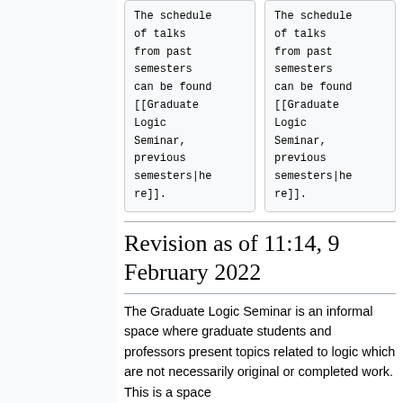The schedule of talks from past semesters can be found [[Graduate Logic Seminar, previous semesters|here]].
The schedule of talks from past semesters can be found [[Graduate Logic Seminar, previous semesters|here]].
Revision as of 11:14, 9 February 2022
The Graduate Logic Seminar is an informal space where graduate students and professors present topics related to logic which are not necessarily original or completed work. This is a space